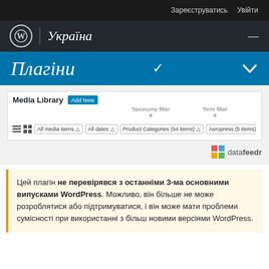Зареєструватись  Увійти
Україна
Плагіни
[Figure (screenshot): WordPress Media Library admin screen showing filter controls: All media items, All dates, Product Categories (94 items), Aeropress (5 items), Filter button, with Taxonomy filter and Term filter labels and datafeedr logo]
Цей плагін не перевірявся з останніми 3-ма основними випусками WordPress. Можливо, він більше не може розроблятися або підтримуватися, і він може мати проблеми сумісності при використанні з більш новими версіями WordPress.